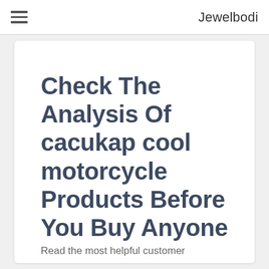Jewelbodi
Check The Analysis Of cacukap cool motorcycle Products Before You Buy Anyone
Read the most helpful customer